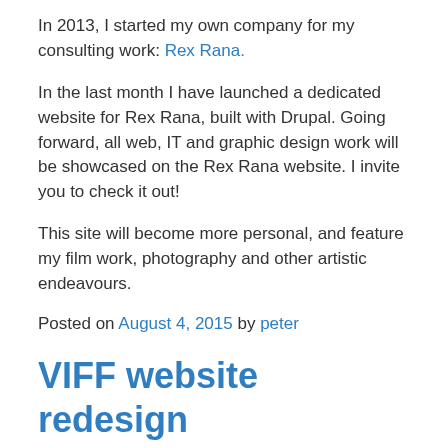In 2013, I started my own company for my consulting work: Rex Rana.
In the last month I have launched a dedicated website for Rex Rana, built with Drupal. Going forward, all web, IT and graphic design work will be showcased on the Rex Rana website. I invite you to check it out!
This site will become more personal, and feature my film work, photography and other artistic endeavours.
Posted on August 4, 2015 by peter
VIFF website redesign
[Figure (screenshot): Screenshot of the VIFF (Vancouver International Film Festival) website showing the VIFF logo with eye icon, navigation bar with links for General Information, VIFF Submissions, Contact, Get Involved, Support VIFF, a search box, and a colorful image strip with red, dark, and blue sections.]